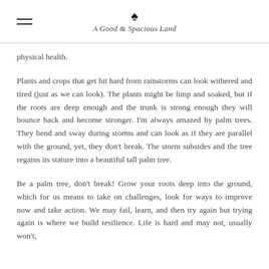A Good & Spacious Land
physical health.
Plants and crops that get hit hard from rainstorms can look withered and tired (just as we can look). The plants might be limp and soaked, but if the roots are deep enough and the trunk is strong enough they will bounce back and become stronger. I'm always amazed by palm trees. They bend and sway during storms and can look as if they are parallel with the ground, yet, they don't break. The storm subsides and the tree regains its stature into a beautiful tall palm tree.
Be a palm tree, don't break! Grow your roots deep into the ground, which for us means to take on challenges, look for ways to improve now and take action. We may fail, learn, and then try again but trying again is where we build resilience. Life is hard and may not, usually won't,